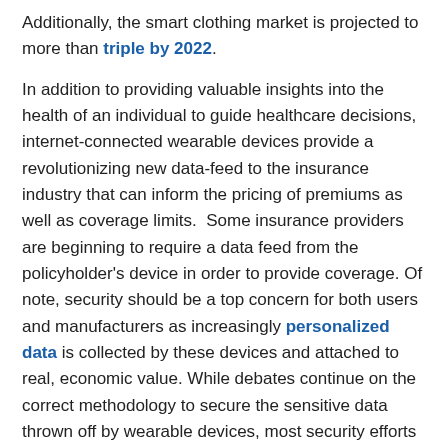Additionally, the smart clothing market is projected to more than triple by 2022.
In addition to providing valuable insights into the health of an individual to guide healthcare decisions, internet-connected wearable devices provide a revolutionizing new data-feed to the insurance industry that can inform the pricing of premiums as well as coverage limits.  Some insurance providers are beginning to require a data feed from the policyholder's device in order to provide coverage. Of note, security should be a top concern for both users and manufacturers as increasingly personalized data is collected by these devices and attached to real, economic value.  While debates continue on the correct methodology to secure the sensitive data thrown off by wearable devices, most security efforts are focused on utilizing the unique, personalized data from the devices themselves to establish privacy.
While there are many potential uses for wearables, we at HGP believe the greatest value of wearables is in the field of Remote Patient Monitoring, whereby Internet-connected devices can, in